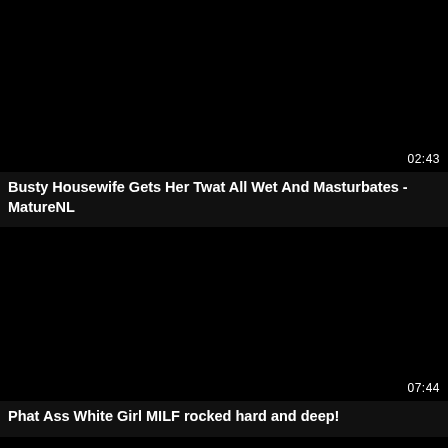[Figure (screenshot): Black video thumbnail with duration 02:43 in bottom right corner]
Busty Housewife Gets Her Twat All Wet And Masturbates - MatureNL
[Figure (screenshot): Black video thumbnail with duration 07:44 in bottom right corner]
Phat Ass White Girl MILF rocked hard and deep!
[Figure (screenshot): Black video thumbnail partially visible at bottom]